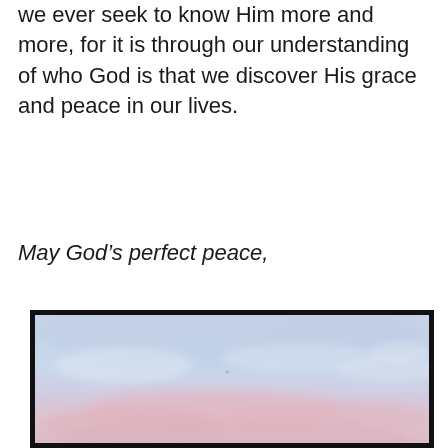we ever seek to know Him more and more, for it is through our understanding of who God is that we discover His grace and peace in our lives.
May God’s perfect peace,
[Figure (photo): A peaceful sky photograph showing soft blue and lavender tones with pink-tinged clouds near the horizon, framed with a thick black border.]